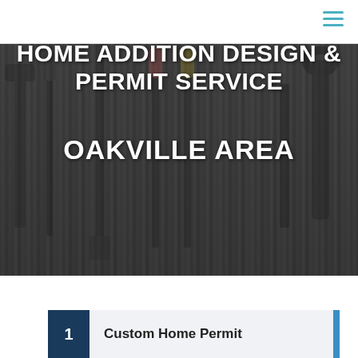Navigation bar with hamburger menu
[Figure (photo): Dark background photo of various construction/carpentry tools laid on a wooden surface, with a dark overlay]
HOME ADDITION DESIGN & PERMIT SERVICE OAKVILLE AREA
1  Custom Home Permit